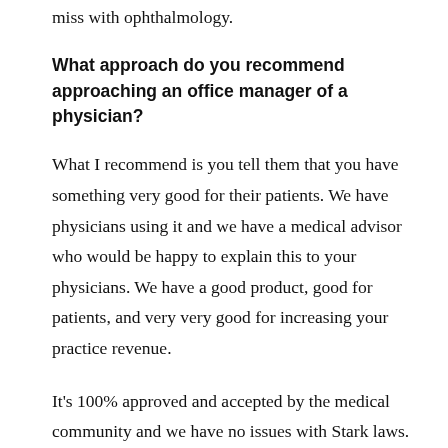miss with ophthalmology.
What approach do you recommend approaching an office manager of a physician?
What I recommend is you tell them that you have something very good for their patients. We have physicians using it and we have a medical advisor who would be happy to explain this to your physicians. We have a good product, good for patients, and very very good for increasing your practice revenue.
It's 100% approved and accepted by the medical community and we have no issues with Stark laws. That's the way I would introduce yourself. You're showing that this is something of value,